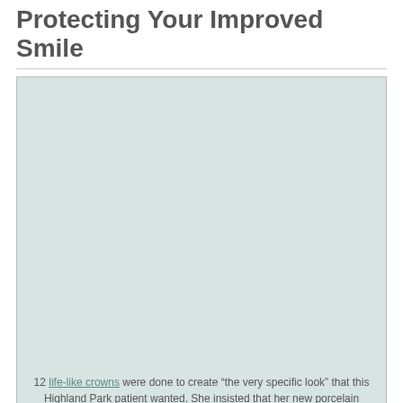Protecting Your Improved Smile
[Figure (photo): A dental patient photo showing before/after cosmetic dental work, light gray-green placeholder image with a caption below about 12 life-like crowns done for a Highland Park patient]
12 life-like crowns were done to create “the very specific look” that this Highland Park patient wanted. She insisted that her new porcelain dental crowns and veneers would have the same light transmitting properties of natural teeth. Veneers for bruxers require a very specific design.
As a prerequisite for any type of cosmetic improvement and